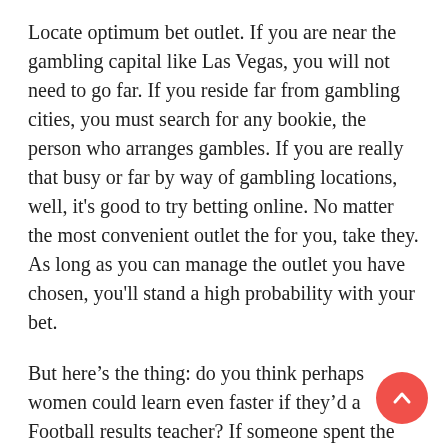Locate optimum bet outlet. If you are near the gambling capital like Las Vegas, you will not need to go far. If you reside far from gambling cities, you must search for any bookie, the person who arranges gambles. If you are really that busy or far by way of gambling locations, well, it's good to try betting online. No matter the most convenient outlet the for you, take they. As long as you can manage the outlet you have chosen, you'll stand a high probability with your bet.
But here's the thing: do you think perhaps women could learn even faster if they'd a Football results teacher? If someone spent the time (hint, hint, you men of all ages!) to explain online game? Not in 'lady-speak,' however in plain old English?
The amateur likes to bet to the Football news fav team and make a little cash here generally there. The problem is with sports would be that every week there are upsets. The professional has fine-tuned his